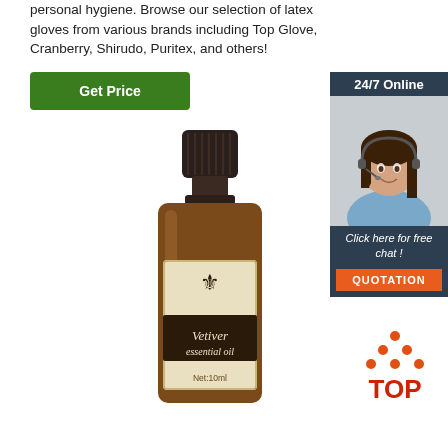personal hygiene. Browse our selection of latex gloves from various brands including Top Glove, Cranberry, Shirudo, Puritex, and others!
[Figure (other): Green 'Get Price' button]
[Figure (other): 24/7 Online chat widget with woman in headset, 'Click here for free chat!' text, and orange QUOTATION button]
[Figure (other): Vetiver essential oil bottle, amber glass, 10ml, with fleur-de-lis label]
[Figure (logo): TOP logo with orange dots forming triangle above red TOP text]